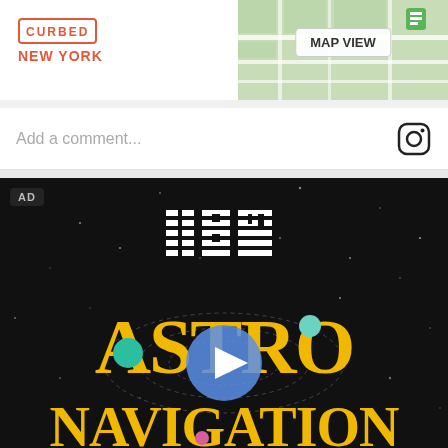CURBED NEW YORK
[Figure (map): Google Maps thumbnail showing street map with MAP VIEW button]
Add a comment...
[Figure (infographic): IBM advertisement video thumbnail with dark space background, IBM striped logo, large yellow text ASTRO NAVIGATION, orbital rings, planets, and a play button overlay]